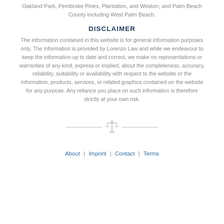Oakland Park, Pembroke Pines, Plantation, and Weston; and Palm Beach County including West Palm Beach.
DISCLAIMER
The information contained in this website is for general information purposes only. The information is provided by Lorenzo Law and while we endeavour to keep the information up to date and correct, we make no representations or warranties of any kind, express or implied, about the completeness, accuracy, reliability, suitability or availability with respect to the website or the information, products, services, or related graphics contained on the website for any purpose. Any reliance you place on such information is therefore strictly at your own risk.
[Figure (illustration): Scales of justice decorative divider with horizontal lines on each side]
About | Imprint | Contact | Terms